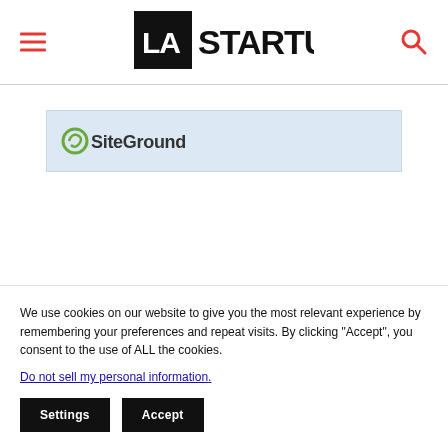[Figure (logo): LA Startups logo — black square with white 'LA' text beside large bold 'STARTUPS' text]
[Figure (logo): SiteGround logo on light blue banner background]
We use cookies on our website to give you the most relevant experience by remembering your preferences and repeat visits. By clicking “Accept”, you consent to the use of ALL the cookies.
Do not sell my personal information.
Settings
Accept